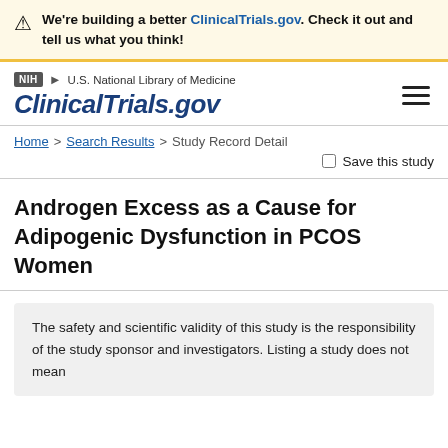We're building a better ClinicalTrials.gov. Check it out and tell us what you think!
[Figure (logo): NIH logo badge with arrow and U.S. National Library of Medicine text, ClinicalTrials.gov site name]
Home > Search Results > Study Record Detail
Save this study
Androgen Excess as a Cause for Adipogenic Dysfunction in PCOS Women
The safety and scientific validity of this study is the responsibility of the study sponsor and investigators. Listing a study does not mean